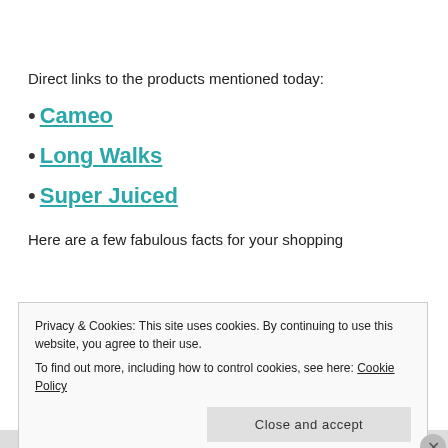Direct links to the products mentioned today:
• Cameo
• Long Walks
• Super Juiced
Here are a few fabulous facts for your shopping
Privacy & Cookies: This site uses cookies. By continuing to use this website, you agree to their use.
To find out more, including how to control cookies, see here: Cookie Policy
Close and accept